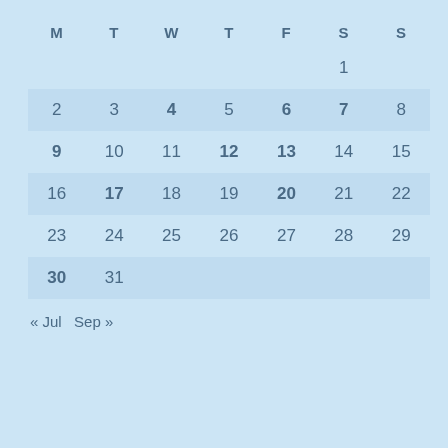| M | T | W | T | F | S | S |
| --- | --- | --- | --- | --- | --- | --- |
|  |  |  |  |  | 1 |  |
| 2 | 3 | 4 | 5 | 6 | 7 | 8 |
| 9 | 10 | 11 | 12 | 13 | 14 | 15 |
| 16 | 17 | 18 | 19 | 20 | 21 | 22 |
| 23 | 24 | 25 | 26 | 27 | 28 | 29 |
| 30 | 31 |  |  |  |  |  |
« Jul  Sep »